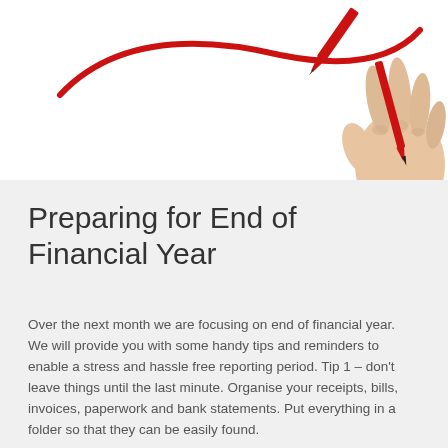[Figure (photo): A hand holding a red marker pen, appearing to circle or underline something off-screen, against a white background. Partial view showing wrist and fingers gripping the pen.]
Preparing for End of Financial Year
Over the next month we are focusing on end of financial year. We will provide you with some handy tips and reminders to enable a stress and hassle free reporting period. Tip 1 – don't leave things until the last minute. Organise your receipts, bills, invoices, paperwork and bank statements. Put everything in a folder so that they can be easily found.